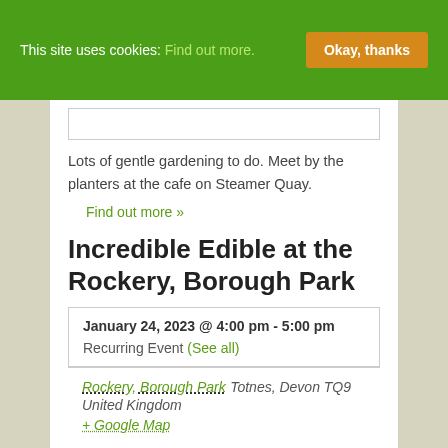This site uses cookies: Find out more. Okay, thanks
Lots of gentle gardening to do. Meet by the planters at the cafe on Steamer Quay.
Find out more »
Incredible Edible at the Rockery, Borough Park
| January 24, 2023 @ 4:00 pm - 5:00 pm |
| Recurring Event (See all) |
| Rockery, Borough Park Totnes, Devon TQ9 United Kingdom |
| + Google Map |